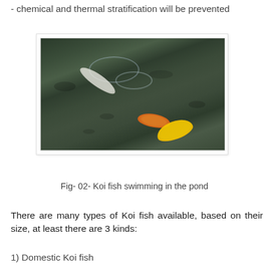- chemical and thermal stratification will be prevented
[Figure (photo): Koi fish swimming in a pond, with visible koi fish including yellow and orange-red colored fish, rippling water surface with dark reflections]
Fig- 02- Koi fish swimming in the pond
There are many types of Koi fish available, based on their size, at least there are 3 kinds:
1) Domestic Koi fish